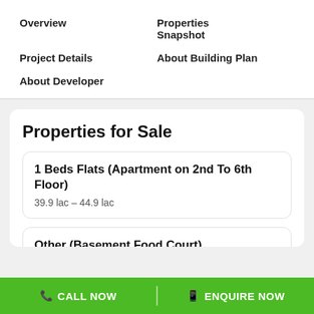Overview
Properties Snapshot
Project Details
About Building Plan
About Developer
Properties for Sale
1 Beds Flats (Apartment on 2nd To 6th Floor)
39.9 lac - 44.9 lac
Other (Basement Food Court)
15 lac - 30 lac
CALL NOW | ENQUIRE NOW